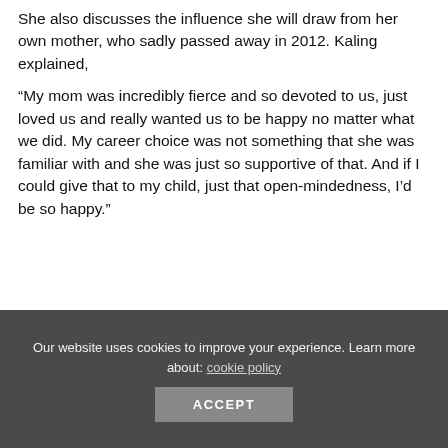She also discusses the influence she will draw from her own mother, who sadly passed away in 2012. Kaling explained,
“My mom was incredibly fierce and so devoted to us, just loved us and really wanted us to be happy no matter what we did. My career choice was not something that she was familiar with and she was just so supportive of that. And if I could give that to my child, just that open-mindedness, I’d be so happy.”
Our website uses cookies to improve your experience. Learn more about: cookie policy
ACCEPT